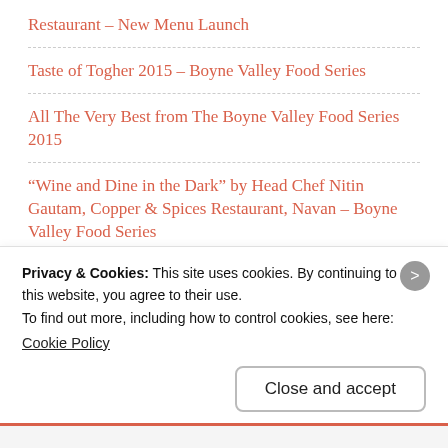Restaurant – New Menu Launch
Taste of Togher 2015 – Boyne Valley Food Series
All The Very Best from The Boyne Valley Food Series 2015
“Wine and Dine in the Dark” by Head Chef Nitin Gautam, Copper & Spices Restaurant, Navan – Boyne Valley Food Series
“Taste of a Farmers Market” by Head Chef Michael Hunter, Scholars Townhouse Hotel – Boyne Valley Food Series
Privacy & Cookies: This site uses cookies. By continuing to use this website, you agree to their use.
To find out more, including how to control cookies, see here:
Cookie Policy
Close and accept